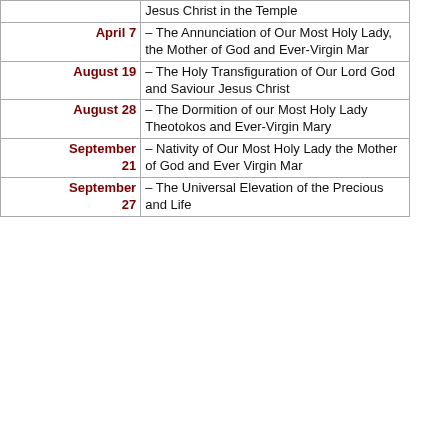| Date | Event |
| --- | --- |
| April 7 | – The Annunciation of Our Most Holy Lady, the Mother of God and Ever-Virgin Mar |
| August 19 | – The Holy Transfiguration of Our Lord God and Saviour Jesus Christ |
| August 28 | – The Dormition of our Most Holy Lady Theotokos and Ever-Virgin Mary |
| September 21 | – Nativity of Our Most Holy Lady the Mother of God and Ever Virgin Mar |
| September 27 | – The Universal Elevation of the Precious and Life... |